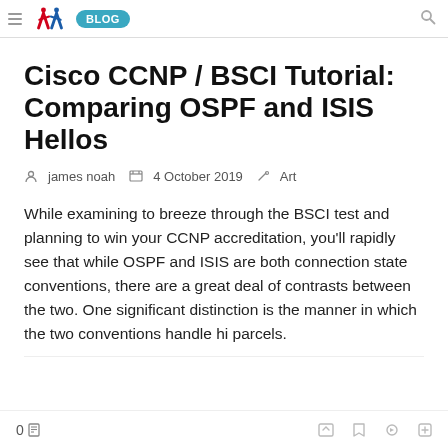BLOG
Cisco CCNP / BSCI Tutorial: Comparing OSPF and ISIS Hellos
james noah  4 October 2019  Art
While examining to breeze through the BSCI test and planning to win your CCNP accreditation, you'll rapidly see that while OSPF and ISIS are both connection state conventions, there are a great deal of contrasts between the two. One significant distinction is the manner in which the two conventions handle hi parcels.
0